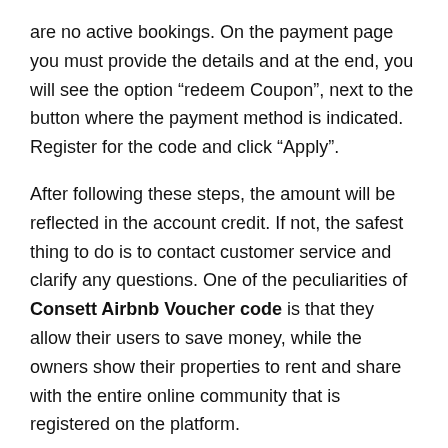are no active bookings. On the payment page you must provide the details and at the end, you will see the option “redeem Coupon”, next to the button where the payment method is indicated. Register for the code and click “Apply”.
After following these steps, the amount will be reflected in the account credit. If not, the safest thing to do is to contact customer service and clarify any questions. One of the peculiarities of Consett Airbnb Voucher code is that they allow their users to save money, while the owners show their properties to rent and share with the entire online community that is registered on the platform.
Booking on Airbnb is simple – and fun! I love booking on Airbnb because you get to browse so many amazing holiday rentals and apartments, and choose the one that you love the most. Here’s how to make your first Airbnb booking and claim your £50 off: